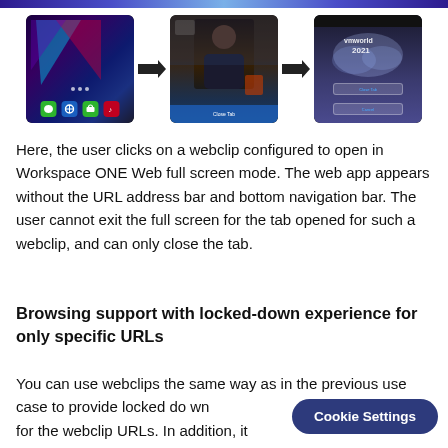[Figure (screenshot): Three mobile/tablet screenshots arranged in a row with arrows between them showing a webclip workflow: (1) iPhone home screen, (2) video call screen, (3) VMworld 2021 screen with Close Tab and Cancel buttons]
Here, the user clicks on a webclip configured to open in Workspace ONE Web full screen mode. The web app appears without the URL address bar and bottom navigation bar. The user cannot exit the full screen for the tab opened for such a webclip, and can only close the tab.
Browsing support with locked-down experience for only specific URLs
You can use webclips the same way as in the previous use case to provide locked down experience for the webclip URLs. In addition, it...